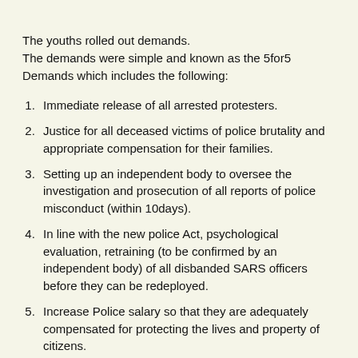The youths rolled out demands.
The demands were simple and known as the 5for5 Demands which includes the following:
Immediate release of all arrested protesters.
Justice for all deceased victims of police brutality and appropriate compensation for their families.
Setting up an independent body to oversee the investigation and prosecution of all reports of police misconduct (within 10days).
In line with the new police Act, psychological evaluation, retraining (to be confirmed by an independent body) of all disbanded SARS officers before they can be redeployed.
Increase Police salary so that they are adequately compensated for protecting the lives and property of citizens.